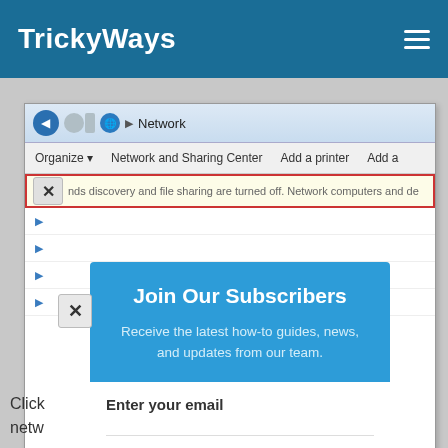TrickyWays
[Figure (screenshot): Windows Explorer Network window screenshot showing address bar with 'Network', toolbar with Organize, Network and Sharing Center, Add a printer, Add buttons, and a yellow warning bar partially visible]
[Figure (screenshot): Popup modal overlay on webpage: blue box titled 'Join Our Subscribers' with subtitle 'Receive the latest how-to guides, news, and updates from our team.' and white form area below with 'Enter your email' label and 'Subscribe' button. Close X button in top-left corner of popup.]
Click
netw